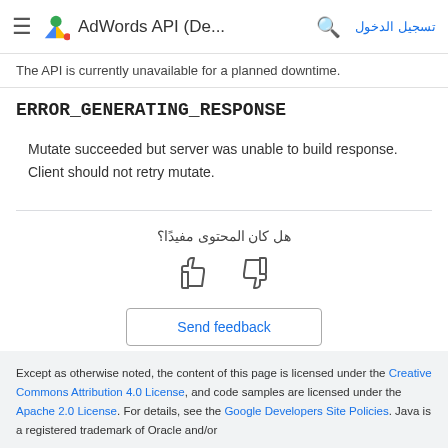≡ AdWords API (De... 🔍 تسجيل الدخول
The API is currently unavailable for a planned downtime.
ERROR_GENERATING_RESPONSE
Mutate succeeded but server was unable to build response. Client should not retry mutate.
هل كان المحتوى مفيدًا؟
[Figure (illustration): Thumbs up and thumbs down feedback icons]
Send feedback
Except as otherwise noted, the content of this page is licensed under the Creative Commons Attribution 4.0 License, and code samples are licensed under the Apache 2.0 License. For details, see the Google Developers Site Policies. Java is a registered trademark of Oracle and/or